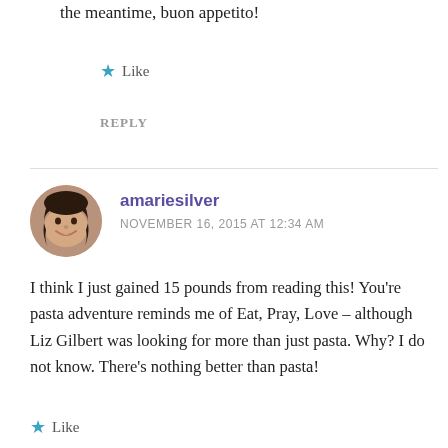the meantime, buon appetito!
★ Like
REPLY
amariesilver
NOVEMBER 16, 2015 AT 12:34 AM
I think I just gained 15 pounds from reading this! You're pasta adventure reminds me of Eat, Pray, Love – although Liz Gilbert was looking for more than just pasta. Why? I do not know. There's nothing better than pasta!
★ Like